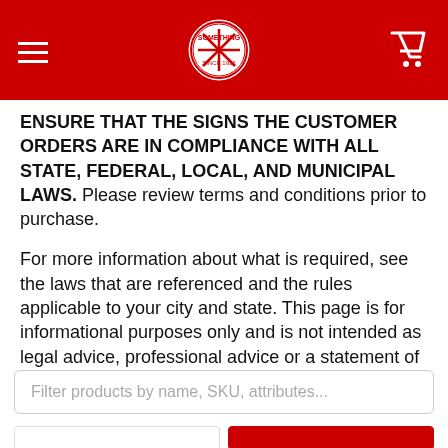[Logo and navigation header with hamburger menu, circular badge logo, and shopping cart icon]
ENSURE THAT THE SIGNS THE CUSTOMER ORDERS ARE IN COMPLIANCE WITH ALL STATE, FEDERAL, LOCAL, AND MUNICIPAL LAWS. Please review terms and conditions prior to purchase.
For more information about what is required, see the laws that are referenced and the rules applicable to your city and state. This page is for informational purposes only and is not intended as legal advice, professional advice or a statement of law. You may wish to consult with an attorney.
Filter products by name, SKU, attributes...